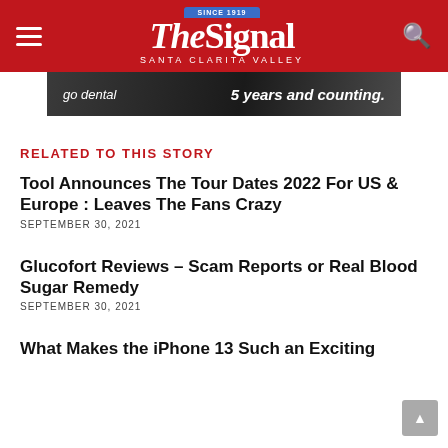The Signal – Santa Clarita Valley (Since 1919)
[Figure (photo): Advertisement banner for 'go dental – 5 years and counting.']
RELATED TO THIS STORY
Tool Announces The Tour Dates 2022 For US & Europe : Leaves The Fans Crazy
SEPTEMBER 30, 2021
Glucofort Reviews – Scam Reports or Real Blood Sugar Remedy
SEPTEMBER 30, 2021
What Makes the iPhone 13 Such an Exciting...